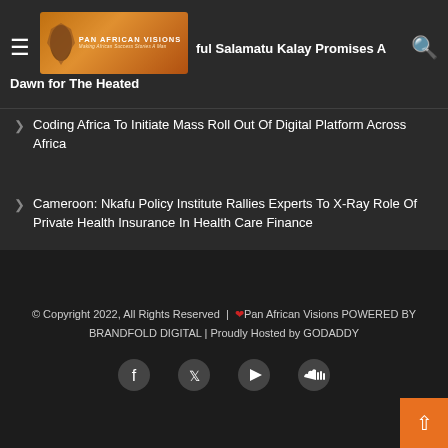Pan African Visions | ful Salamatu Kalay Promises A Dawn for The Heated
Coding Africa To Initiate Mass Roll Out Of Digital Platform Across Africa
Cameroon: Nkafu Policy Institute Rallies Experts To X-Ray Role Of Private Health Insurance In Health Care Finance
Newsletter
© Copyright 2022, All Rights Reserved | ❤ Pan African Visions POWERED BY BRANDFOLD DIGITAL | Proudly Hosted by GODADDY